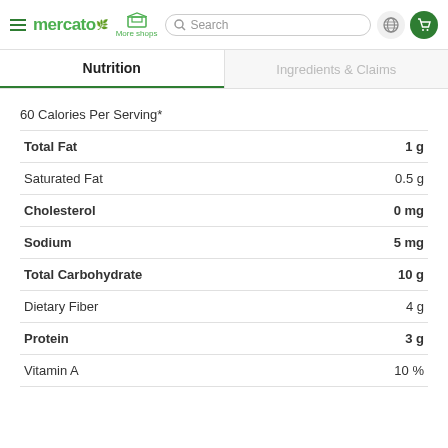mercato | More shops | Search | (globe) | (cart)
Nutrition
Ingredients & Claims
60 Calories Per Serving*
| Nutrient | Amount |
| --- | --- |
| Total Fat | 1 g |
| Saturated Fat | 0.5 g |
| Cholesterol | 0 mg |
| Sodium | 5 mg |
| Total Carbohydrate | 10 g |
| Dietary Fiber | 4 g |
| Protein | 3 g |
| Vitamin A | 10 % |